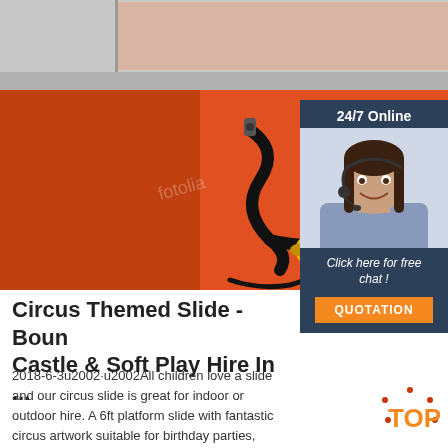[Figure (photo): Close-up photo of an orange/red inflatable bouncy castle surface with a black hose and yellow electric air pump/blower on it. The inflatable structure is partially visible with grey borders at the top.]
[Figure (photo): Customer service representative woman wearing a headset, smiling. Inset sidebar image with '24/7 Online' header text above her and 'Click here for free chat!' text and orange QUOTATION button below.]
Circus Themed Slide - Bouncy Castle & Soft Play Hire In ...
2018-6-3u2002·u2002All children love a slide and our circus slide is great for indoor or outdoor hire. A 6ft platform slide with fantastic circus artwork suitable for birthday parties, Weddings, Christenings and anywhere that fun is required. Contact Us or use our online booking to make sure you get this for your party or call 01752 704862 07725 320944